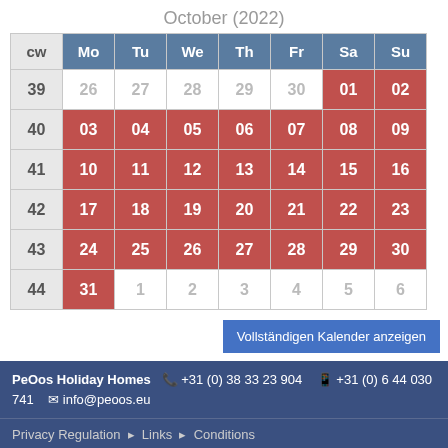October (2022)
| cw | Mo | Tu | We | Th | Fr | Sa | Su |
| --- | --- | --- | --- | --- | --- | --- | --- |
| 39 | 26 | 27 | 28 | 29 | 30 | 01 | 02 |
| 40 | 03 | 04 | 05 | 06 | 07 | 08 | 09 |
| 41 | 10 | 11 | 12 | 13 | 14 | 15 | 16 |
| 42 | 17 | 18 | 19 | 20 | 21 | 22 | 23 |
| 43 | 24 | 25 | 26 | 27 | 28 | 29 | 30 |
| 44 | 31 | 1 | 2 | 3 | 4 | 5 | 6 |
Vollständigen Kalender anzeigen
PeOos Holiday Homes  +31 (0) 38 33 23 904  +31 (0) 6 44 030 741  info@peoos.eu
Privacy Regulation  |  Links  |  Conditions
Wollen Sie nichts mehr verpassen? Dann melden Sie
Zum Newsletter anmelden